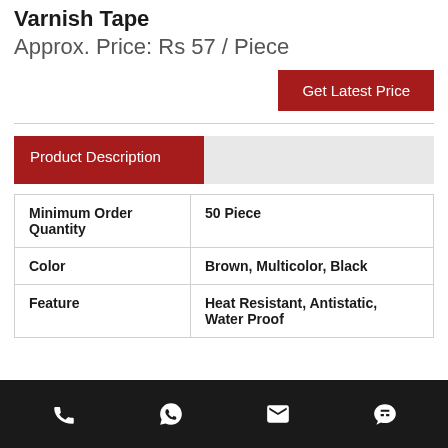Varnish Tape
Approx. Price: Rs 57 / Piece
Get Latest Price
|  |  |
| --- | --- |
| Minimum Order Quantity | 50 Piece |
| Color | Brown, Multicolor, Black |
| Feature | Heat Resistant, Antistatic, Water Proof |
Phone | WhatsApp | Email | Chat